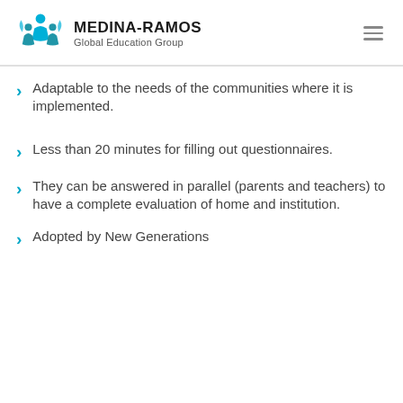MEDINA-RAMOS Global Education Group
Adaptable to the needs of the communities where it is implemented.
Less than 20 minutes for filling out questionnaires.
They can be answered in parallel (parents and teachers) to have a complete evaluation of home and institution.
Adopted by New Generations